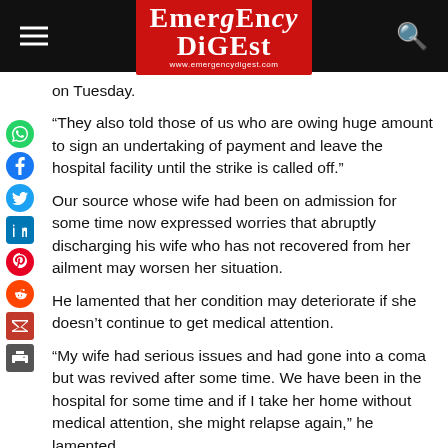[Figure (logo): Emergency Digest logo on red background with hamburger menu and search icon on black header bar]
on Tuesday.
“They also told those of us who are owing huge amount to sign an undertaking of payment and leave the hospital facility until the strike is called off.”
Our source whose wife had been on admission for some time now expressed worries that abruptly discharging his wife who has not recovered from her ailment may worsen her situation.
He lamented that her condition may deteriorate if she doesn’t continue to get medical attention.
“My wife had serious issues and had gone into a coma but was revived after some time. We have been in the hospital for some time and if I take her home without medical attention, she might relapse again,” he lamented.
Another patient who has a fracture on his thigh wondered where